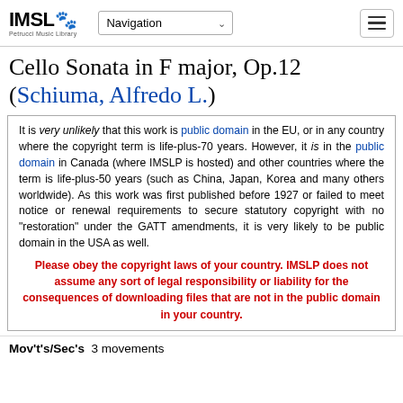IMSLP Petrucci Music Library | Navigation | [hamburger menu]
Cello Sonata in F major, Op.12 (Schiuma, Alfredo L.)
It is very unlikely that this work is public domain in the EU, or in any country where the copyright term is life-plus-70 years. However, it is in the public domain in Canada (where IMSLP is hosted) and other countries where the term is life-plus-50 years (such as China, Japan, Korea and many others worldwide). As this work was first published before 1927 or failed to meet notice or renewal requirements to secure statutory copyright with no "restoration" under the GATT amendments, it is very likely to be public domain in the USA as well.
Please obey the copyright laws of your country. IMSLP does not assume any sort of legal responsibility or liability for the consequences of downloading files that are not in the public domain in your country.
Mov't's/Sec's  3 movements